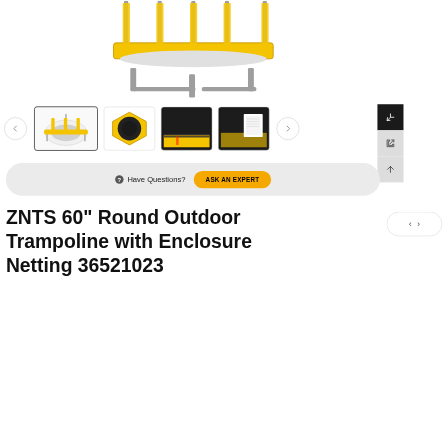[Figure (photo): Yellow and gray trampoline with enclosure netting, shown from side angle. Bottom portion visible with frame legs and yellow safety pad.]
[Figure (photo): Thumbnail row showing four product photos: top-down view of trampoline, hexagonal top-down view, close-up of jumping mat and padding, close-up of frame and label.]
Have Questions?
ASK AN EXPERT
ZNTS 60" Round Outdoor Trampoline with Enclosure Netting 36521023